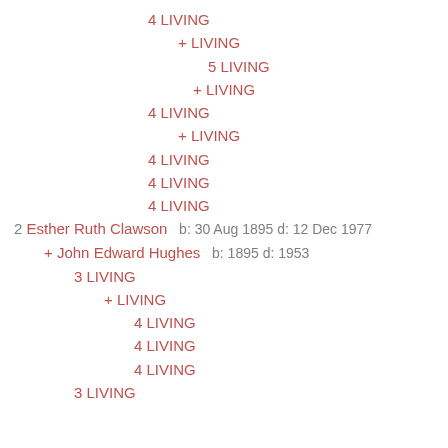4 LIVING
+ LIVING
5 LIVING
+ LIVING
4 LIVING
+ LIVING
4 LIVING
4 LIVING
4 LIVING
2 Esther Ruth Clawson   b: 30 Aug 1895 d: 12 Dec 1977
+ John Edward Hughes   b: 1895 d: 1953
3 LIVING
+ LIVING
4 LIVING
4 LIVING
4 LIVING
3 LIVING